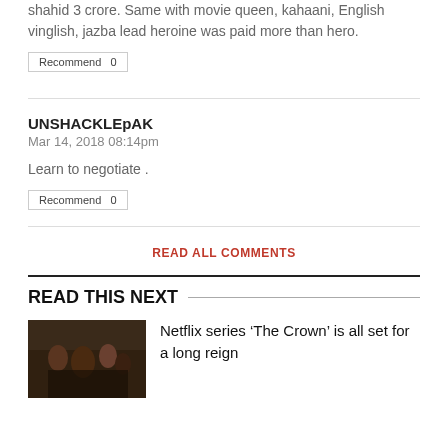shahid 3 crore. Same with movie queen, kahaani, English vinglish, jazba lead heroine was paid more than hero.
Recommend  0
UNSHACKLEpAK
Mar 14, 2018 08:14pm
Learn to negotiate .
Recommend  0
READ ALL COMMENTS
READ THIS NEXT
Netflix series ‘The Crown’ is all set for a long reign